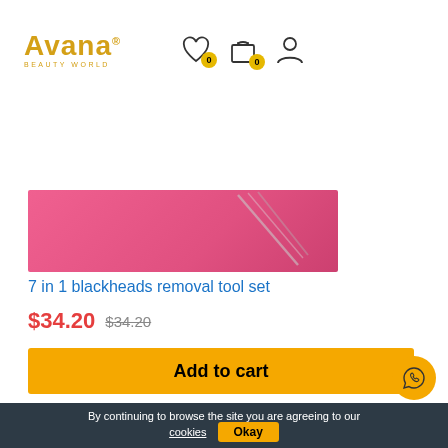Avana Beauty World – navigation header with wishlist (0), cart (0), and account icons
[Figure (photo): Pink background product image strip showing 7 in 1 blackheads removal tool set]
7 in 1 blackheads removal tool set
$34.20  $34.20
Add to cart
Add to Wishlist
By continuing to browse the site you are agreeing to our cookies  Okay